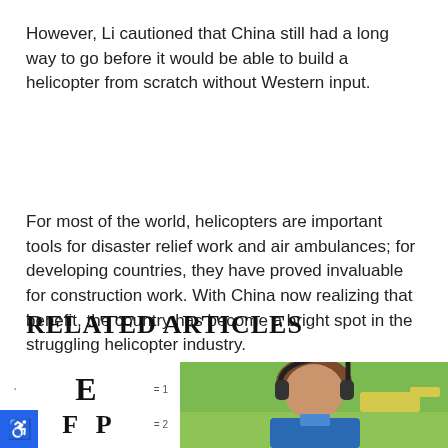However, Li cautioned that China still had a long way to go before it would be able to build a helicopter from scratch without Western input.
For most of the world, helicopters are important tools for disaster relief work and air ambulances; for developing countries, they have proved invaluable for construction work. With China now realizing that benefit, the country has become a bright spot in the struggling helicopter industry.
RELATED ARTICLES
[Figure (photo): Eye chart showing letters E on top row and F P on second row, with row numbers 1 and 2 on the right side]
[Figure (photo): Photo of a person wearing aviation headphones, sitting near a helicopter outdoors with green grass and aircraft in background]